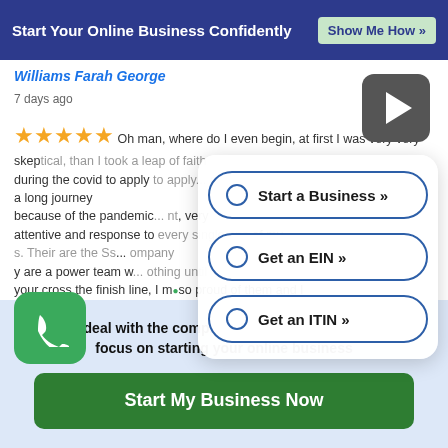Start Your Online Business Confidently  Show Me How »
Williams Farah George
7 days ago
Oh man, where do I even begin, at first I was very very skeptical, than I took a leap of faith during the covid to apply... aina and prince were incredible, it was a long journey because of the pandemic... nt, very attentive and response to every single one of my s. Their are the Ss... ompany y are a power team w... othing until your cross the finish line, I m so proud of them and I can't wait to use their services again, and refers to
[Figure (other): Play button icon - dark rounded square with white triangle]
[Figure (other): Green rounded square phone/call icon]
Start a Business »
Get an EIN »
Get an ITIN »
Let us deal with the complicated legal forms so you can focus on starting your online business
Start My Business Now